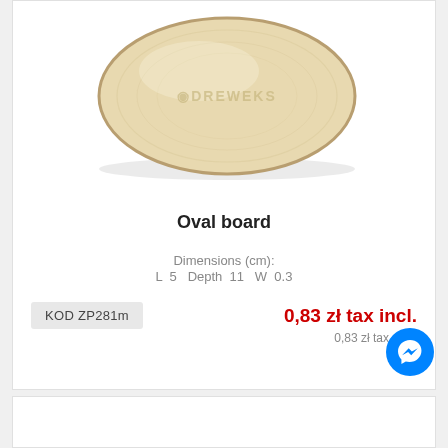[Figure (photo): Oval wooden board (plywood) with DREWEKS logo embossed, viewed from above at slight angle, light beige/natural wood color]
Oval board
Dimensions (cm): L 5 Depth 11 W 0.3
KOD ZP281m
0,83 zł tax incl.
0,83 zł tax excl.